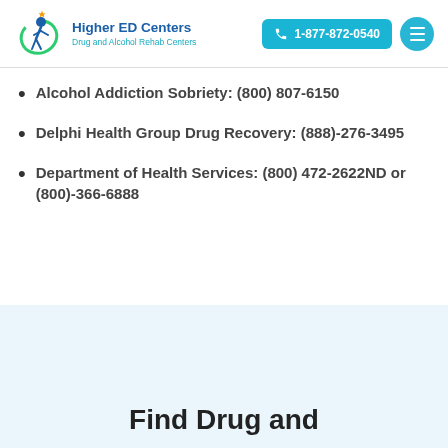[Figure (logo): Higher ED Centers logo with person figure and text 'Higher ED Centers Drug and Alcohol Rehab Centers']
Alcohol Addiction Sobriety: (800) 807-6150
Delphi Health Group Drug Recovery: (888)-276-3495
Department of Health Services: (800) 472-2622ND or (800)-366-6888
Find Drug and